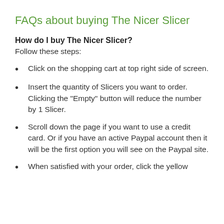FAQs about buying The Nicer Slicer
How do I buy The Nicer Slicer?
Follow these steps:
Click on the shopping cart at top right side of screen.
Insert the quantity of Slicers you want to order. Clicking the "Empty" button will reduce the number by 1 Slicer.
Scroll down the page if you want to use a credit card. Or if you have an active Paypal account then it will be the first option you will see on the Paypal site.
When satisfied with your order, click the yellow